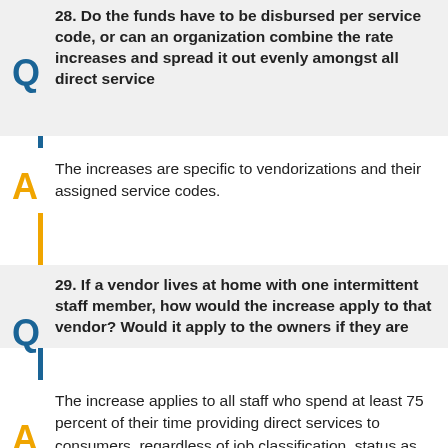28. Do the funds have to be disbursed per service code, or can an organization combine the rate increases and spread it out evenly amongst all direct service
The increases are specific to vendorizations and their assigned service codes.
29. If a vendor lives at home with one intermittent staff member, how would the increase apply to that vendor? Would it apply to the owners if they are
The increase applies to all staff who spend at least 75 percent of their time providing direct services to consumers, regardless of job classification, status as